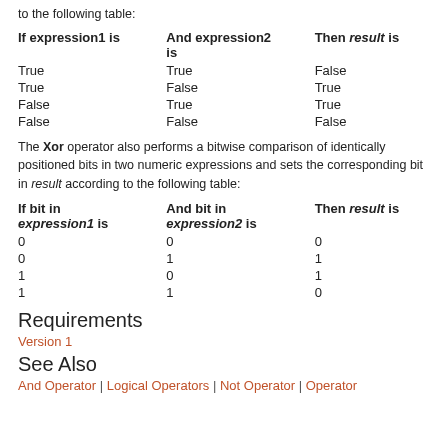to the following table:
| If expression1 is | And expression2 is | Then result is |
| --- | --- | --- |
| True | True | False |
| True | False | True |
| False | True | True |
| False | False | False |
The Xor operator also performs a bitwise comparison of identically positioned bits in two numeric expressions and sets the corresponding bit in result according to the following table:
| If bit in expression1 is | And bit in expression2 is | Then result is |
| --- | --- | --- |
| 0 | 0 | 0 |
| 0 | 1 | 1 |
| 1 | 0 | 1 |
| 1 | 1 | 0 |
Requirements
Version 1
See Also
And Operator | Logical Operators | Not Operator | Operator